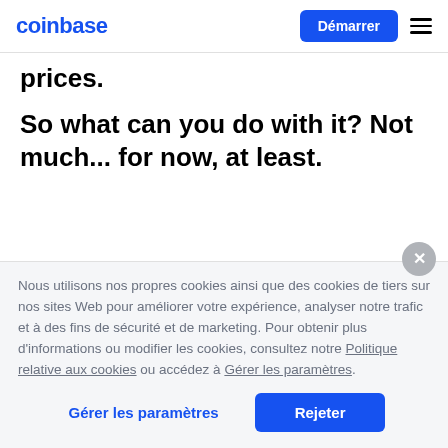coinbase | Démarrer
prices.
So what can you do with it? Not much... for now, at least.
Nous utilisons nos propres cookies ainsi que des cookies de tiers sur nos sites Web pour améliorer votre expérience, analyser notre trafic et à des fins de sécurité et de marketing. Pour obtenir plus d'informations ou modifier les cookies, consultez notre Politique relative aux cookies ou accédez à Gérer les paramètres.
Gérer les paramètres | Rejeter